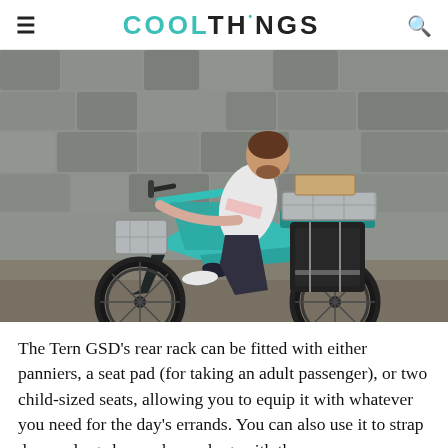COOLTHINGS
[Figure (photo): Man riding a teal Tern GSD cargo e-bike loaded with grey crates on the front rack and rear rack, plus a large black pannier bag on the rear. Stone wall backdrop, motion blur on background.]
The Tern GSD's rear rack can be fitted with either panniers, a seat pad (for taking an adult passenger), or two child-sized seats, allowing you to equip it with whatever you need for the day's errands. You can also use it to strap down a large box or heavy bag, with the